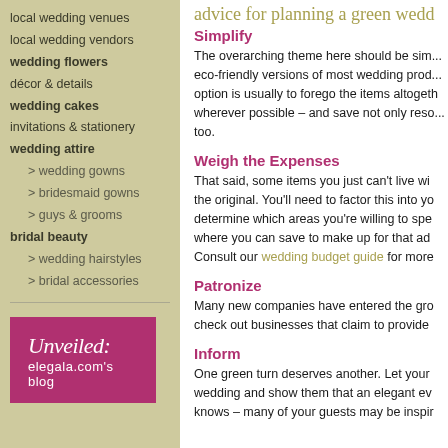local wedding venues
local wedding vendors
wedding flowers
décor & details
wedding cakes
invitations & stationery
wedding attire
> wedding gowns
> bridesmaid gowns
> guys & grooms
bridal beauty
> wedding hairstyles
> bridal accessories
[Figure (logo): Unveiled: elegala.com's blog logo in pink/magenta box with white text]
advice for planning a green wedd...
Simplify
The overarching theme here should be sim... eco-friendly versions of most wedding prod... option is usually to forego the items altogether, wherever possible – and save not only reso... too.
Weigh the Expenses
That said, some items you just can't live wi... the original. You'll need to factor this into yo... determine which areas you're willing to spe... where you can save to make up for that ad... Consult our wedding budget guide for more...
Patronize
Many new companies have entered the gro... check out businesses that claim to provide...
Inform
One green turn deserves another. Let your... wedding and show them that an elegant ev... knows – many of your guests may be inspir...